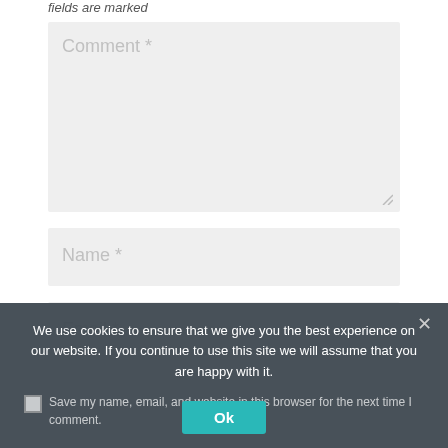fields are marked
[Figure (screenshot): Comment text area input field with placeholder text 'Comment *' and resize handle]
[Figure (screenshot): Name input field with placeholder text 'Name *']
[Figure (screenshot): Email input field with placeholder text 'Email *']
We use cookies to ensure that we give you the best experience on our website. If you continue to use this site we will assume that you are happy with it.
Ok
Save my name, email, and website in this browser for the next time I comment.